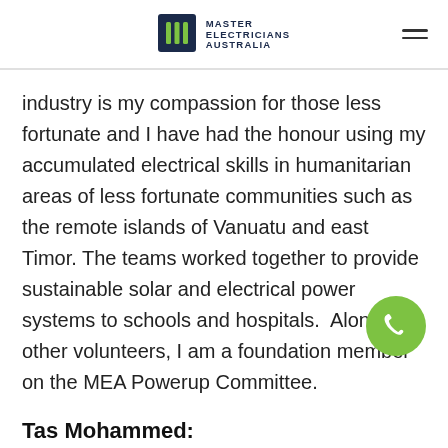MASTER ELECTRICIANS AUSTRALIA
industry is my compassion for those less fortunate and I have had the honour using my accumulated electrical skills in humanitarian areas of less fortunate communities such as the remote islands of Vanuatu and east Timor. The teams worked together to provide sustainable solar and electrical power systems to schools and hospitals.  Along with other volunteers, I am a foundation member on the MEA Powerup Committee.
Tas Mohammed: